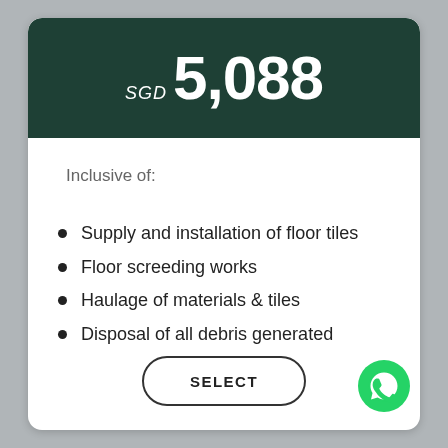SGD 5,088
Inclusive of:
Supply and installation of floor tiles
Floor screeding works
Haulage of materials & tiles
Disposal of all debris generated
SELECT